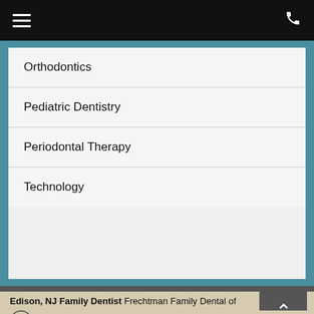Navigation menu and phone icon
Orthodontics
Pediatric Dentistry
Periodontal Therapy
Technology
Edison, NJ Family Dentist Frechtman Family Dental of Edison 98 James Street, Suite 306 Edison, NJ 08820 (732) 548-8600 Call For Pricing Options
COPYRIGHT © 2022 MH SUB I, LLC DBA OFFICITE | SITE MAP | DISCLAIMER | PATIENT PRIVACY